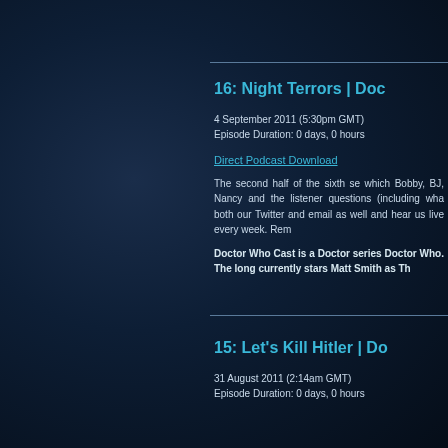16: Night Terrors | Doc
4 September 2011 (5:30pm GMT)
Episode Duration: 0 days, 0 hours
Direct Podcast Download
The second half of the sixth se which Bobby, BJ, Nancy and the listener questions (including wha both our Twitter and email as well and hear us live every week. Rem
Doctor Who Cast is a Doctor series Doctor Who. The long currently stars Matt Smith as Th
15: Let's Kill Hitler | Do
31 August 2011 (2:14am GMT)
Episode Duration: 0 days, 0 hours